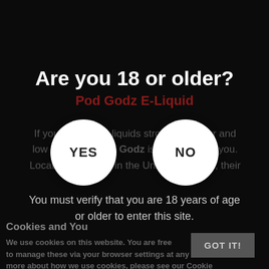Are you 18 or older?
Pod Godz E-Liquid
[Figure (other): YES button (white circle) and NO button (white circle) side by side]
If you like your e-liquids strong in flavour and low in smoke, Pod Godz is the brand for you. Located right here in the United Kingdom, their
You must verify that you are 18 years of age or older to enter this site.
Cookies and You
GOT IT!
We use cookies on this website. You are free to manage these via your browser settings at any time. For more about how we use cookies, please see our Cookie Policy.